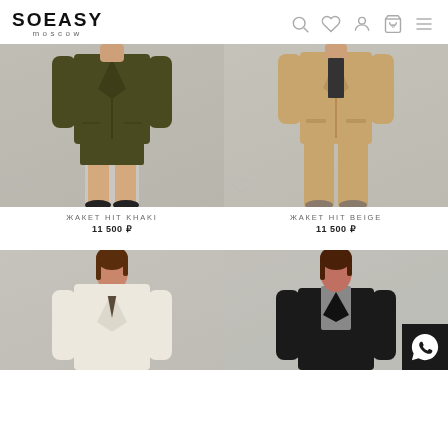SOEASY moscow — navigation icons: search, wishlist, account, cart, menu
[Figure (photo): Khaki blazer and mini skirt ensemble on model, cropped at torso, dark khaki/olive color, black loafers, light grey background]
[Figure (photo): Beige blazer and wide-leg trousers ensemble on model, cropped at torso, tan/camel color, light grey background]
ЖАКЕТ HIT KHAKI
11 500 ₽
ЖАКЕТ HIT BEIGE
11 500 ₽
[Figure (photo): Model in cream/ivory blazer, upper body, brown hair, light background]
[Figure (photo): Model in dark jacket/leather look, upper body, brown hair, grey turtleneck, with WhatsApp button overlay]